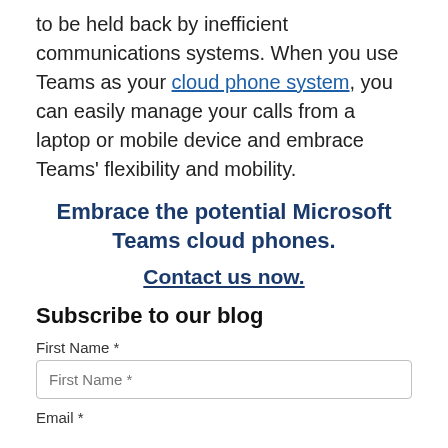to be held back by inefficient communications systems. When you use Teams as your cloud phone system, you can easily manage your calls from a laptop or mobile device and embrace Teams' flexibility and mobility.
Embrace the potential Microsoft Teams cloud phones.
Contact us now.
Subscribe to our blog
First Name *
First Name *
Email *